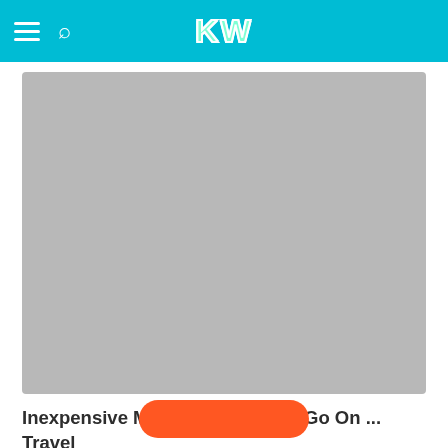KW
[Figure (photo): Large placeholder image area with grey background representing an article hero image]
Inexpensive Mini Adventures to Go On ... Travel